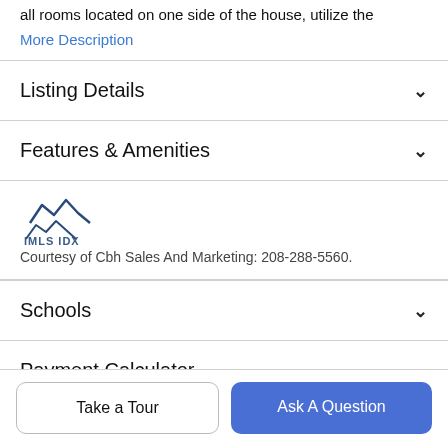all rooms located on one side of the house, utilize the
More Description
Listing Details
Features & Amenities
[Figure (logo): IMLS IDX logo with mountain peaks icon]
Courtesy of Cbh Sales And Marketing: 208-288-5560.
Schools
Payment Calculator
Take a Tour
Ask A Question